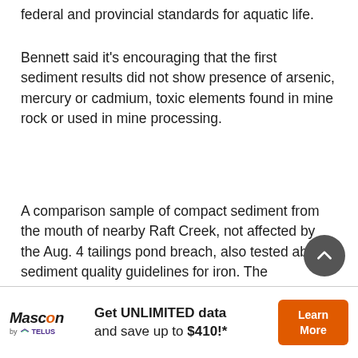federal and provincial standards for aquatic life.
Bennett said it's encouraging that the first sediment results did not show presence of arsenic, mercury or cadmium, toxic elements found in mine rock or used in mine processing.
A comparison sample of compact sediment from the mouth of nearby Raft Creek, not affected by the Aug. 4 tailings pond breach, also tested above sediment quality guidelines for iron. The environment ministry says mineral deposits that attract mine development often have naturally occurring metal concentrations much higher than other areas.
“What we need to do is test these sediments to determi…
[Figure (other): Advertisement banner: Mascon by Telus logo, text 'Get UNLIMITED data and save up to $410!*', orange 'Learn More' button]